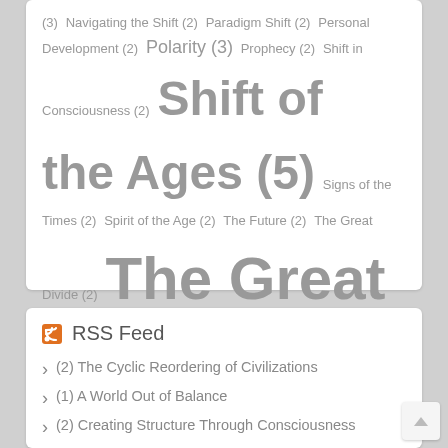(3) Navigating the Shift (2) Paradigm Shift (2) Personal Development (2) Polarity (3) Prophecy (2) Shift in Consciousness (2) Shift of the Ages (5) Signs of the Times (2) Spirit of the Age (2) The Future (2) The Great Divide (2) The Great Shift (9) The Great Year (2) The Hero's Journey (2) The Shift of the Ages (2) Transformation (4) Transition (2) Transmutation (1) Tree of Life (2) Xibalba (2) Yuga Cycle (3)
RSS Feed
(2) The Cyclic Reordering of Civilizations
(1) A World Out of Balance
(2) Creating Structure Through Consciousness
(1) Raising Consciousness Through Truth
(5) The Lights Along the Way [Updated]